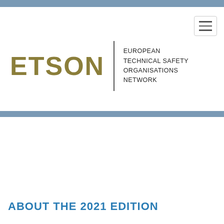[Figure (logo): ETSON - European Technical Safety Organisations Network logo with gold wordmark ETSON, vertical divider, and text EUROPEAN TECHNICAL SAFETY ORGANISATIONS NETWORK]
[Figure (logo): EUROSAFE 2021 banner with small thumbnail image on the left and EUROSAFE | 2021 logo text in blue]
ABOUT THE 2021 EDITION